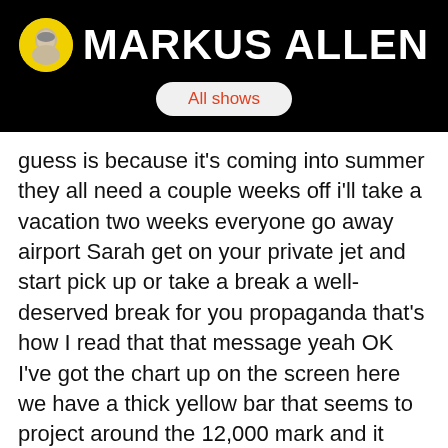MARKUS ALLEN
All shows
guess is because it's coming into summer they all need a couple weeks off i'll take a vacation two weeks everyone go away airport Sarah get on your private jet and start pick up or take a break a well-deserved break for you propaganda that's how I read that that message yeah OK I've got the chart up on the screen here we have a thick yellow bar that seems to project around the 12,000 mark and it won't work we're just bouncing all over the place yeah you see at the beginning of that yellow bar where the police took off at the beginning there so right there and then I at that point there is a traitor I already know that there's gonna be a lot of buy orders there and see what I was